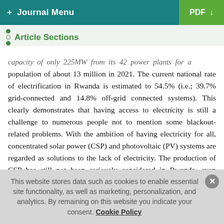+ Journal Menu | PDF ⬇
Article Sections
capacity of only 225MW from its 42 power plants for a population of about 13 million in 2021. The current national rate of electrification in Rwanda is estimated to 54.5% (i.e.; 39.7% grid-connected and 14.8% off-grid connected systems). This clearly demonstrates that having access to electricity is still a challenge to numerous people not to mention some blackout-related problems. With the ambition of having electricity for all, concentrated solar power (CSP) and photovoltaic (PV) systems are regarded as solutions to the lack of electricity. The production of CSP has still not been seriously considered in Rwanda, even though the technology has attracted significant global attention. Heavy usage of conventional power has led to
This website stores data such as cookies to enable essential site functionality, as well as marketing, personalization, and analytics. By remaining on this website you indicate your consent. Cookie Policy